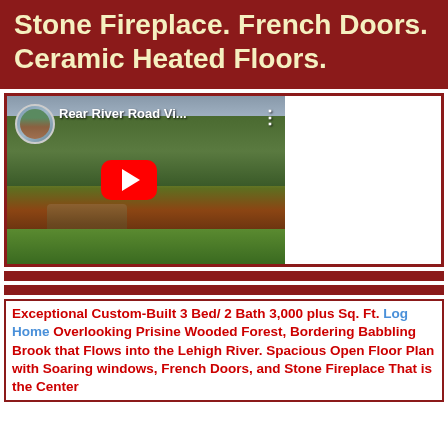Stone Fireplace. French Doors. Ceramic Heated Floors.
[Figure (screenshot): YouTube video thumbnail showing 'Rear River Road Vi...' with a nature scene of a wooded forest and stream, featuring a YouTube play button overlay]
Exceptional Custom-Built 3 Bed/ 2 Bath 3,000 plus Sq. Ft. Log Home Overlooking Prisine Wooded Forest, Bordering Babbling Brook that Flows into the Lehigh River. Spacious Open Floor Plan with Soaring windows, French Doors, and Stone Fireplace That is the Center